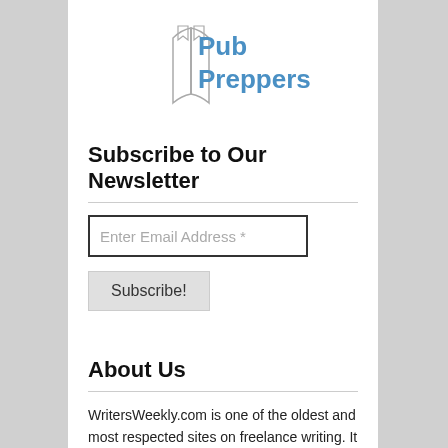[Figure (logo): Pub Preppers logo with book icon and blue text]
Subscribe to Our Newsletter
Enter Email Address *
Subscribe!
About Us
WritersWeekly.com is one of the oldest and most respected sites on freelance writing. It has been published continuously since 1997. It's part of the BookLocker.com, Inc. family of businesses, which includes POD and ebook publisher BookLocker.com, Abuzz Press and